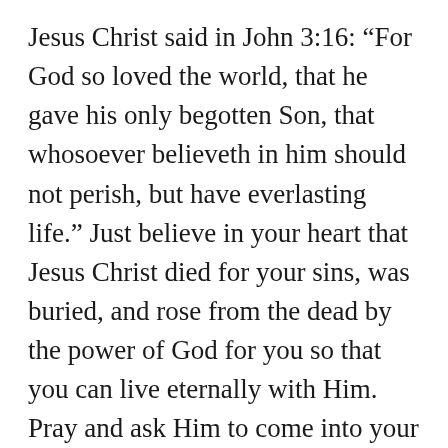Jesus Christ said in John 3:16: “For God so loved the world, that he gave his only begotten Son, that whosoever believeth in him should not perish, but have everlasting life.” Just believe in your heart that Jesus Christ died for your sins, was buried, and rose from the dead by the power of God for you so that you can live eternally with Him. Pray and ask Him to come into your heart today, and He will.
Romans 10:9 & 13 says, “That if thou shalt confess with thy mouth the Lord Jesus, and shalt believe in thine heart that God hath raised him from the dead, thou shalt be saved… For